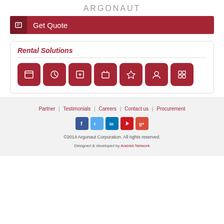ARGONAUT
Get Quote
Rental Solutions
[Figure (infographic): Seven dark red rounded square icon buttons representing rental solution categories]
Partner | Testimonials | Careers | Contact us | Procurement
[Figure (infographic): Social media icons: Facebook, Twitter, LinkedIn, YouTube, Google+]
©2014 Argonaut Corporation. All rights reserved.
Designed & developed by Arabisk Network